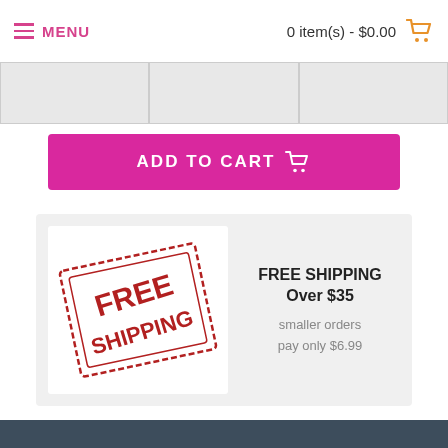MENU | 0 item(s) - $0.00
[Figure (screenshot): Partial tab navigation row with three gray cells]
[Figure (screenshot): Pink 'ADD TO CART' button with cart icon]
[Figure (infographic): Free Shipping promotional box: stamp image on left, text on right reading 'FREE SHIPPING Over $35, smaller orders pay only $6.99']
DESCRIPTION
Home Brew Ohio HOZQ8-1320 Vintners Best Fruit Wine Base, Blackberry